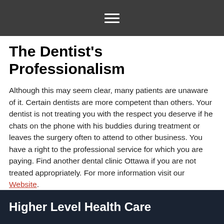The Dentist’s Professionalism
Although this may seem clear, many patients are unaware of it. Certain dentists are more competent than others. Your dentist is not treating you with the respect you deserve if he chats on the phone with his buddies during treatment or leaves the surgery often to attend to other business. You have a right to the professional service for which you are paying. Find another dental clinic Ottawa if you are not treated appropriately. For more information visit our Website.
[Figure (infographic): Social sharing buttons: Facebook (blue), Twitter (light blue), Pinterest (red), Share (blue)]
Higher Level Health Care